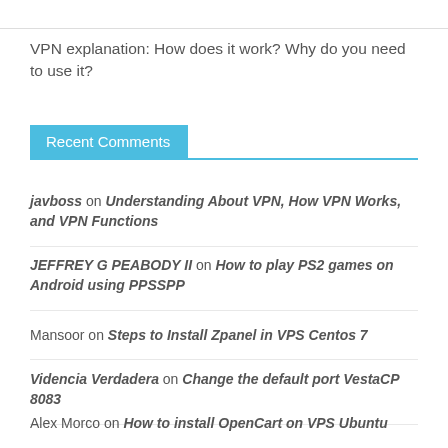VPN explanation: How does it work? Why do you need to use it?
Recent Comments
javboss on Understanding About VPN, How VPN Works, and VPN Functions
JEFFREY G PEABODY II on How to play PS2 games on Android using PPSSPP
Mansoor on Steps to Install Zpanel in VPS Centos 7
Videncia Verdadera on Change the default port VestaCP 8083
Alex Morco on How to install OpenCart on VPS Ubuntu